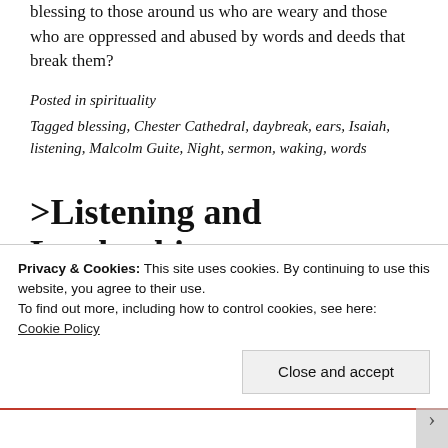blessing to those around us who are weary and those who are oppressed and abused by words and deeds that break them?
Posted in spirituality
Tagged blessing, Chester Cathedral, daybreak, ears, Isaiah, listening, Malcolm Guite, Night, sermon, waking, words
>Listening and Leadership
Privacy & Cookies: This site uses cookies. By continuing to use this website, you agree to their use.
To find out more, including how to control cookies, see here: Cookie Policy
Close and accept